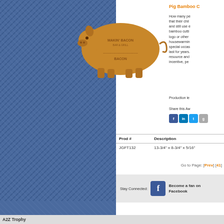[Figure (photo): Pig-shaped bamboo cutting board with 'Makin Bacon Bar & Grill' custom laser engraving]
Pig Bamboo C
How many pe that their chil and still use e bamboo cutti logo or other housewarmin special occas last for years. resource and incentive, pe
Production le
Share this Aw
| Prod # | Description |
| --- | --- |
| JGFT132 | 13-3/4" x 8-3/4" x 5/16" |
Go to Page: [Prev] [41]
Stay Connected:
Become a fan on Facebook
A2Z Trophy